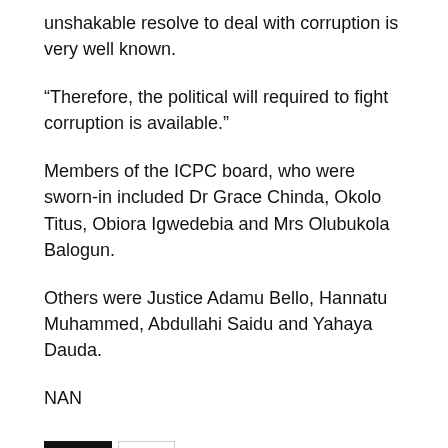unshakable resolve to deal with corruption is very well known.
“Therefore, the political will required to fight corruption is available.”
Members of the ICPC board, who were sworn-in included Dr Grace Chinda, Okolo Titus, Obiora Igwedebia and Mrs Olubukola Balogun.
Others were Justice Adamu Bello, Hannatu Muhammed, Abdullahi Saidu and Yahaya Dauda.
NAN
TAGS  FG